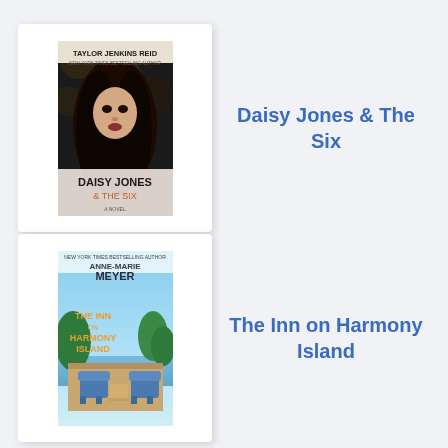[Figure (illustration): Book cover of 'Daisy Jones & The Six' by Taylor Jenkins Reid, showing a woman with long dark hair and the book title at the bottom]
Daisy Jones & The Six
[Figure (illustration): Book cover of 'The Inn on Harmony Island' by Anne-Marie Meyer, showing blue chairs on a porch with water in the background]
The Inn on Harmony Island